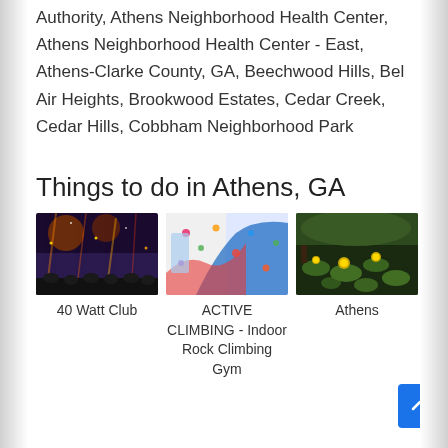Authority, Athens Neighborhood Health Center, Athens Neighborhood Health Center - East, Athens-Clarke County, GA, Beechwood Hills, Bel Air Heights, Brookwood Estates, Cedar Creek, Cedar Hills, Cobbham Neighborhood Park
Things to do in Athens, GA
[Figure (photo): Three thumbnail photos showing: 1) 40 Watt Club interior with stage lights, 2) ACTIVE CLIMBING indoor rock climbing gym with colorful walls, 3) Athens garden/pond with water lilies and yellow flowers]
40 Watt Club
ACTIVE CLIMBING - Indoor Rock Climbing Gym
Athens